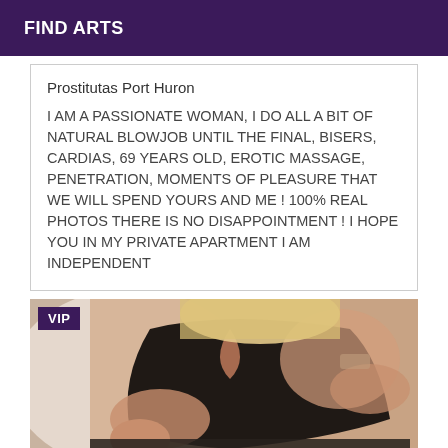FIND ARTS
Prostitutas Port Huron
I AM A PASSIONATE WOMAN, I DO ALL A BIT OF NATURAL BLOWJOB UNTIL THE FINAL, BISERS, CARDIAS, 69 YEARS OLD, EROTIC MASSAGE, PENETRATION, MOMENTS OF PLEASURE THAT WE WILL SPEND YOURS AND ME ! 100% REAL PHOTOS THERE IS NO DISAPPOINTMENT ! I HOPE YOU IN MY PRIVATE APARTMENT I AM INDEPENDENT
[Figure (photo): Woman in black dress lying down, VIP badge overlay in top left corner]